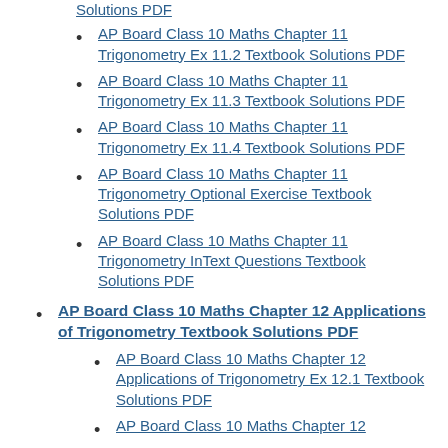AP Board Class 10 Maths Chapter 11 Trigonometry Ex 11.2 Textbook Solutions PDF
AP Board Class 10 Maths Chapter 11 Trigonometry Ex 11.3 Textbook Solutions PDF
AP Board Class 10 Maths Chapter 11 Trigonometry Ex 11.4 Textbook Solutions PDF
AP Board Class 10 Maths Chapter 11 Trigonometry Optional Exercise Textbook Solutions PDF
AP Board Class 10 Maths Chapter 11 Trigonometry InText Questions Textbook Solutions PDF
AP Board Class 10 Maths Chapter 12 Applications of Trigonometry Textbook Solutions PDF
AP Board Class 10 Maths Chapter 12 Applications of Trigonometry Ex 12.1 Textbook Solutions PDF
AP Board Class 10 Maths Chapter 12